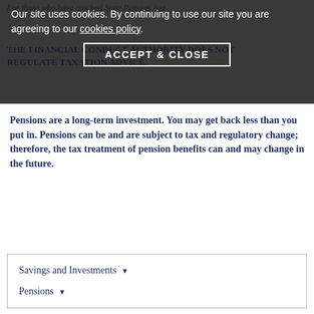For those who have reached State Pension Age
Our site uses cookies. By continuing to use our site you are agreeing to our cookies policy.
ACCEPT & CLOSE
THE FINANCIAL CONDUCT AUTHORITY DOES NOT REGULATE TAXATION ADVICE.
Pensions are a long-term investment. You may get back less than you put in. Pensions can be and are subject to tax and regulatory change; therefore, the tax treatment of pension benefits can and may change in the future.
Savings and Investments ▾
Pensions ▾